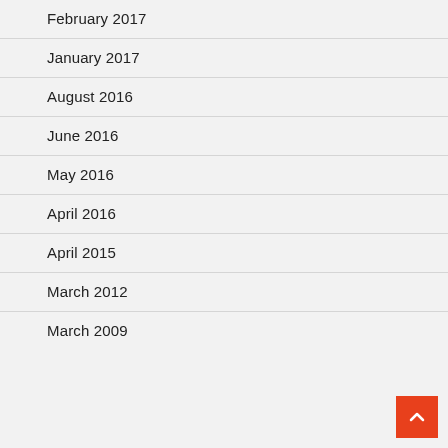February 2017
January 2017
August 2016
June 2016
May 2016
April 2016
April 2015
March 2012
March 2009